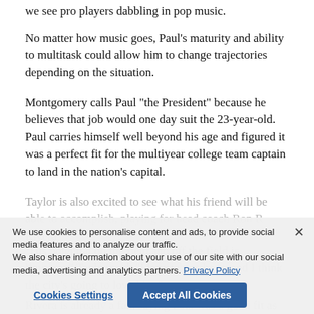we see pro players dabbling in pop music.
No matter how music goes, Paul’s maturity and ability to multitask could allow him to change trajectories depending on the situation.
Montgomery calls Paul “the President” because he believes that job would one day suit the 23-year-old. Paul carries himself well beyond his age and figured it was a perfect fit for the multiyear college team captain to land in the nation’s capital.
Taylor is also excited to see what his friend will be able to accomplish, playing for head coach Ron Rivera.
“His potential on the field and off the field is limitless,” Taylor said. “I love where he is, and I think the city’s going to love him.”
Rivera is already a fan, saying Paul was a good fit as an easygoing guy and a stout offensive linemen who
We use cookies to personalise content and ads, to provide social media features and to analyze our traffic. We also share information about your use of our site with our social media, advertising and analytics partners. Privacy Policy
Cookies Settings
Accept All Cookies